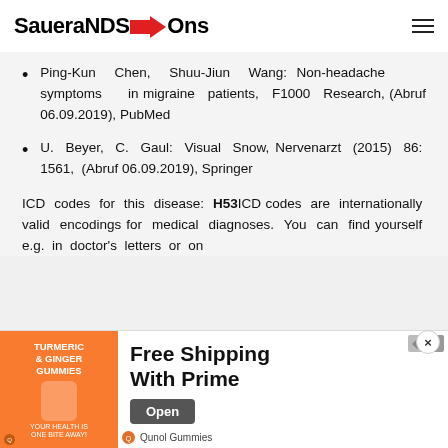SaueraNDS→Ons
Ping-Kun Chen, Shuu-Jiun Wang: Non-headache symptoms in migraine patients, F1000 Research, (Abruf 06.09.2019), PubMed
U. Beyer, C. Gaul: Visual Snow, Nervenarzt (2015) 86: 1561, (Abruf 06.09.2019), Springer
ICD codes for this disease: H53ICD codes are internationally valid encodings for medical diagnoses. You can find yourself e.g. in doctor's letters or on
[Figure (infographic): Advertisement banner for Turmeric & Ginger Gummies - Qunol Gummies. Shows 'Free Shipping With Prime' with an Open button. Has close (×) button and ad icons. Orange background image area on left.]